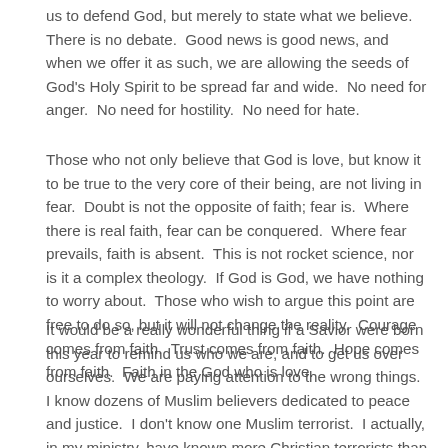us to defend God, but merely to state what we believe.  There is no debate.  Good news is good news, and when we offer it as such, we are allowing the seeds of God's Holy Spirit to be spread far and wide.  No need for anger.  No need for hostility.  No need for hate.
Those who not only believe that God is love, but know it to be true to the very core of their being, are not living in fear.  Doubt is not the opposite of faith; fear is.  Where there is real faith, fear can be conquered.  Where fear prevails, faith is absent.  This is not rocket science, nor is it a complex theology.  If God is God, we have nothing to worry about.  Those who wish to argue this point are free to do so, but it will not change the reality.  Courage comes from faith.  Trust comes from faith.  Hope comes from faith.  Faith in the God who is love.
It would be a really wonderful thing if a Savior were born this year to remind us who we are, and to get us over ourselves.  We are paying attention to the wrong things.  I know dozens of Muslim believers dedicated to peace and justice.  I don't know one Muslim terrorist.  I actually, in my ministry, have known more Christian terrorists than